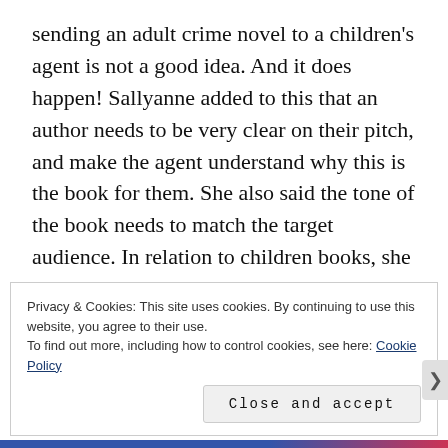sending an adult crime novel to a children's agent is not a good idea. And it does happen! Sallyanne added to this that an author needs to be very clear on their pitch, and make the agent understand why this is the book for them. She also said the tone of the book needs to match the target audience. In relation to children books, she said the only way to make sure your tone is right is by reading children's books. On this note, it is vital to read the submission guidelines online before submitting to any agency. Not sticking to the guidelines is an immediate black mark on your submission.
Privacy & Cookies: This site uses cookies. By continuing to use this website, you agree to their use.
To find out more, including how to control cookies, see here: Cookie Policy
Close and accept